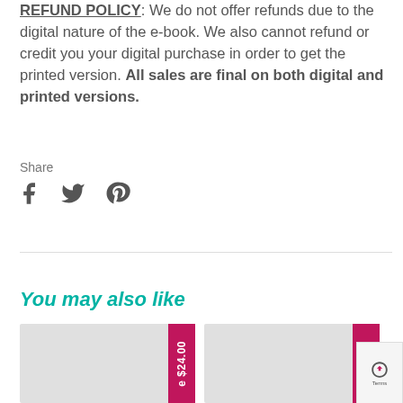REFUND POLICY: We do not offer refunds due to the digital nature of the e-book. We also cannot refund or credit you your digital purchase in order to get the printed version. All sales are final on both digital and printed versions.
Share
[Figure (other): Social media share icons: Facebook, Twitter, Pinterest]
You may also like
[Figure (other): Product card with price tag $24.00]
[Figure (other): Product card with price tag $54.00]